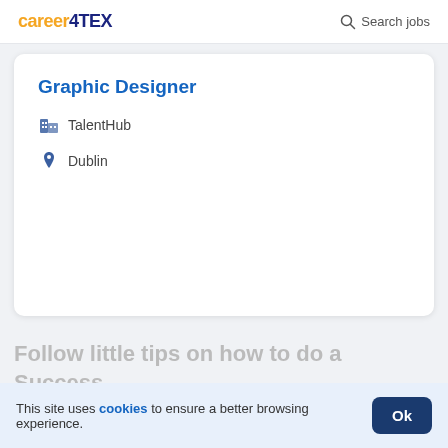career4TEX   Search jobs
Graphic Designer
TalentHub
Dublin
Follow little tips on how to do a Success
This site uses cookies to ensure a better browsing experience.  Ok